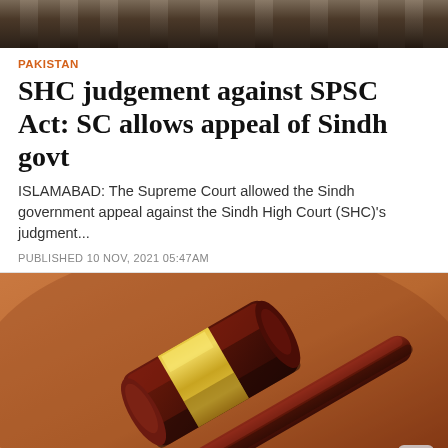[Figure (photo): Top banner image — decorative header photo of a building/courthouse facade, dark tones]
PAKISTAN
SHC judgement against SPSC Act: SC allows appeal of Sindh govt
ISLAMABAD: The Supreme Court allowed the Sindh government appeal against the Sindh High Court (SHC)'s judgment...
PUBLISHED 10 NOV, 2021 05:47AM
[Figure (photo): Close-up photograph of a wooden judge's gavel with a gold/brass band, resting on a surface, warm brown background]